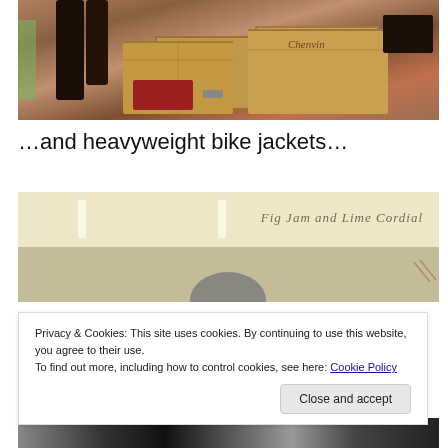[Figure (photo): Interior of a shop showing wooden crates and brown leather/dark items on display, with shelving in background]
…and heavyweight bike jackets…
[Figure (photo): Interior of a shop with bright ceiling lights, watermark text reading 'Fig Jam and Lime Cordial', and partial view of dark merchandise]
Privacy & Cookies: This site uses cookies. By continuing to use this website, you agree to their use.
To find out more, including how to control cookies, see here: Cookie Policy
[Figure (photo): Bottom strip showing dark leather jacket merchandise in a shop]